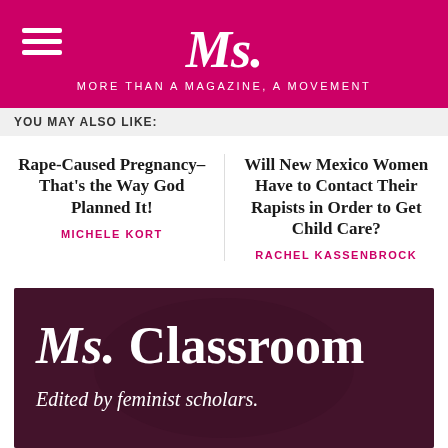Ms. MORE THAN A MAGAZINE, A MOVEMENT
YOU MAY ALSO LIKE:
Rape-Caused Pregnancy–That's the Way God Planned It!
MICHELE KORT
Will New Mexico Women Have to Contact Their Rapists in Order to Get Child Care?
RACHEL KASSENBROCK
[Figure (illustration): Ms. Classroom banner with a dark background photo of a student reading, overlaid with the text 'Ms. Classroom' and 'Edited by feminist scholars.']